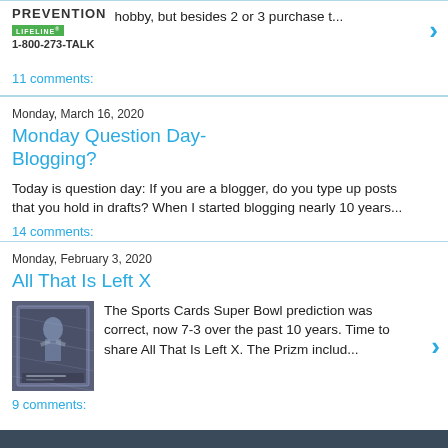[Figure (other): Prevention Lifeline logo with 1-800-273-TALK phone number and truncated blog post excerpt text]
11 comments:
Monday, March 16, 2020
Monday Question Day- Blogging?
Today is question day: If you are a blogger, do you type up posts that you hold in drafts? When I started blogging nearly 10 years...
14 comments:
Monday, February 3, 2020
All That Is Left X
[Figure (photo): Sports card image showing a football player with a Prizm-style holographic design]
The Sports Cards Super Bowl prediction was correct, now 7-3 over the past 10 years. Time to share All That Is Left X. The Prizm includ...
9 comments: